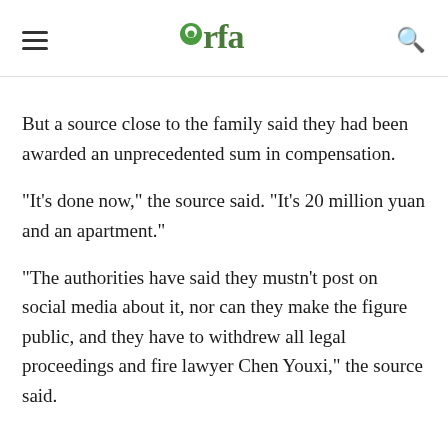RFA (Radio Free Asia) logo, hamburger menu, search icon
But a source close to the family said they had been awarded an unprecedented sum in compensation.
"It's done now," the source said. "It's 20 million yuan and an apartment."
"The authorities have said they mustn't post on social media about it, nor can they make the figure public, and they have to withdrew all legal proceedings and fire lawyer Chen Youxi," the source said.